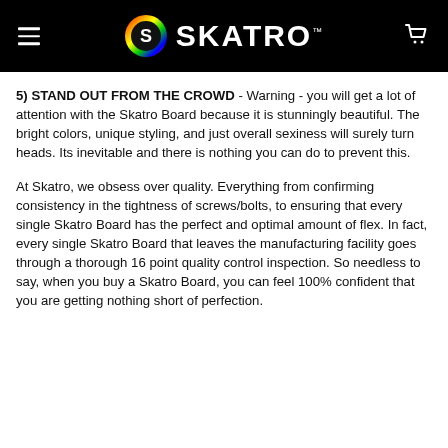SKATRO™ — navigation header
5) STAND OUT FROM THE CROWD - Warning - you will get a lot of attention with the Skatro Board because it is stunningly beautiful. The bright colors, unique styling, and just overall sexiness will surely turn heads. Its inevitable and there is nothing you can do to prevent this.
At Skatro, we obsess over quality. Everything from confirming consistency in the tightness of screws/bolts, to ensuring that every single Skatro Board has the perfect and optimal amount of flex. In fact, every single Skatro Board that leaves the manufacturing facility goes through a thorough 16 point quality control inspection. So needless to say, when you buy a Skatro Board, you can feel 100% confident that you are getting nothing short of perfection.